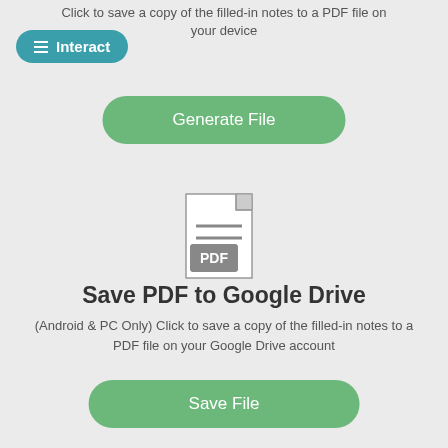Click to save a copy of the filled-in notes to a PDF file on your device
[Figure (screenshot): Interact button with hamburger menu icon, teal rounded rectangle]
[Figure (screenshot): Generate File green rounded button]
[Figure (illustration): PDF file icon with lines and PDF label badge]
Save PDF to Google Drive
(Android & PC Only) Click to save a copy of the filled-in notes to a PDF file on your Google Drive account
[Figure (screenshot): Save File green rounded button]